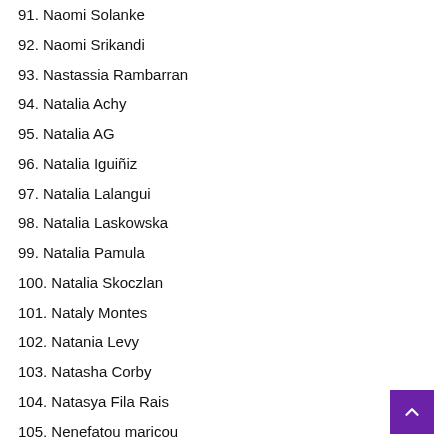91. Naomi Solanke
92. Naomi Srikandi
93. Nastassia Rambarran
94. Natalia Achy
95. Natalia AG
96. Natalia Iguiñiz
97. Natalia Lalangui
98. Natalia Laskowska
99. Natalia Pamula
100. Natalia Skoczlan
101. Nataly Montes
102. Natania Levy
103. Natasha Corby
104. Natasya Fila Rais
105. Nenefatou maricou
106. Nery Perez Martinez